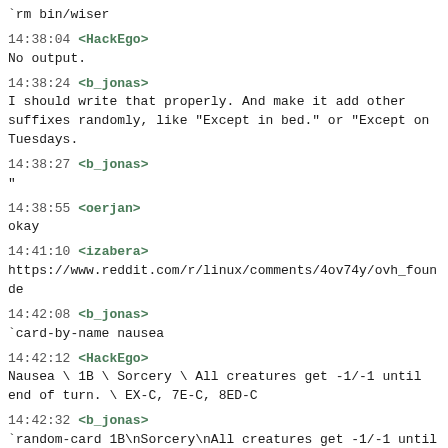`rm bin/wiser
14:38:04 <HackEgo>
No output.
14:38:24 <b_jonas>
I should write that properly. And make it add other suffixes randomly, like "Except in bed." or "Except on Tuesdays.
14:38:27 <b_jonas>
"
14:38:55 <oerjan>
okay
14:41:10 <izabera>
https://www.reddit.com/r/linux/comments/4ov74y/ovh_founde
14:42:08 <b_jonas>
`card-by-name nausea
14:42:12 <HackEgo>
Nausea \ 1B \ Sorcery \ All creatures get -1/-1 until end of turn. \ EX-C, 7E-C, 8ED-C
14:42:32 <b_jonas>
`random-card 1B\nSorcery\nAll creatures get -1/-1 until end of turn.
14:42:35 <HackEgo>
Nausea \ 1B \ Sorcery \ All creatures get -1/-1 until end of turn. \ EX-C, 7E-C, 8ED-C
14:42:37 <b_jonas>